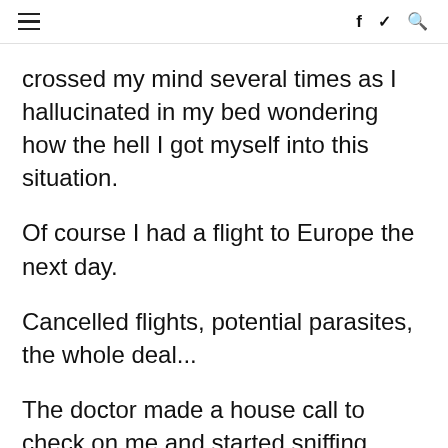≡  f  🐦  🔍
crossed my mind several times as I hallucinated in my bed wondering how the hell I got myself into this situation.
Of course I had a flight to Europe the next day.
Cancelled flights, potential parasites, the whole deal...
The doctor made a house call to check on me and started sniffing around my hotel room only to find a half eaten plate of french fries